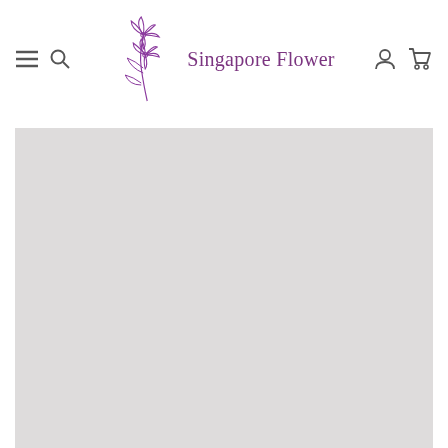Singapore Flower
[Figure (photo): Large light gray placeholder image area below the header navigation]